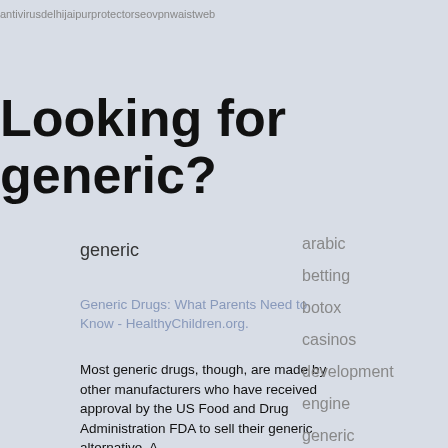antivirusdelhijaipurprotectorseovpnwaistweb
Looking for generic?
generic
Generic Drugs: What Parents Need to Know - HealthyChildren.org.
Most generic drugs, though, are made by other manufacturers who have received approval by the US Food and Drug Administration FDA to sell their generic alternative. A
arabic
betting
botox
casinos
development
engine
generic